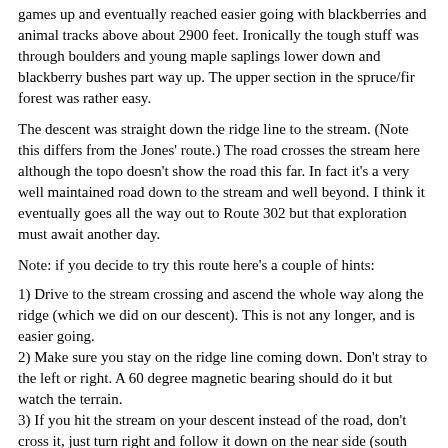games up and eventually reached easier going with blackberries and animal tracks above about 2900 feet. Ironically the tough stuff was through boulders and young maple saplings lower down and blackberry bushes part way up. The upper section in the spruce/fir forest was rather easy.
The descent was straight down the ridge line to the stream. (Note this differs from the Jones' route.) The road crosses the stream here although the topo doesn't show the road this far. In fact it's a very well maintained road down to the stream and well beyond. I think it eventually goes all the way out to Route 302 but that exploration must await another day.
Note: if you decide to try this route here's a couple of hints:
1) Drive to the stream crossing and ascend the whole way along the ridge (which we did on our descent). This is not any longer, and is easier going.
2) Make sure you stay on the ridge line coming down. Don't stray to the left or right. A 60 degree magnetic bearing should do it but watch the terrain.
3) If you hit the stream on your descent instead of the road, don't cross it, just turn right and follow it down on the near side (south bank) and you will hit the road very shortly. Once you hit the road then go left on the road across the stream to do the Signal bushwhack.